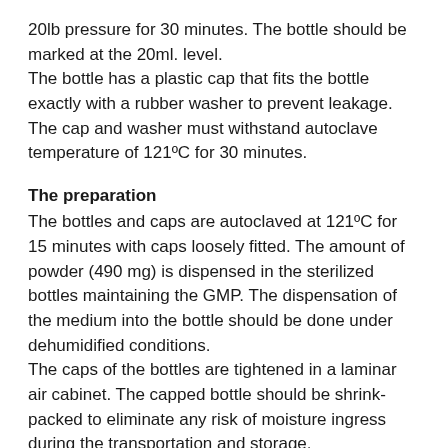20lb pressure for 30 minutes. The bottle should be marked at the 20ml. level. The bottle has a plastic cap that fits the bottle exactly with a rubber washer to prevent leakage. The cap and washer must withstand autoclave temperature of 121ºC for 30 minutes.
The preparation
The bottles and caps are autoclaved at 121ºC for 15 minutes with caps loosely fitted. The amount of powder (490 mg) is dispensed in the sterilized bottles maintaining the GMP. The dispensation of the medium into the bottle should be done under dehumidified conditions.
The caps of the bottles are tightened in a laminar air cabinet. The capped bottle should be shrink-packed to eliminate any risk of moisture ingress during the transportation and storage.
Packaging and labelling: